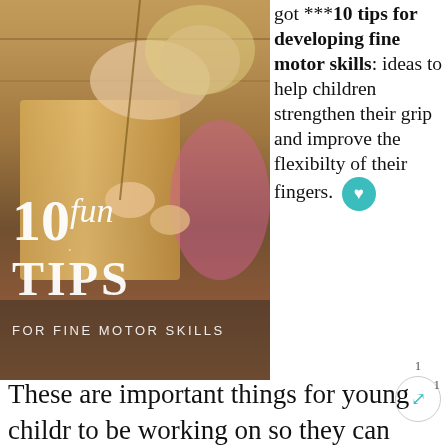[Figure (photo): Photo of a child working with wooden craft materials, with white text overlay reading '10 fun TIPS FOR FINE MOTOR SKILLS']
got ***10 tips for developing fine motor skills: ideas to help children strengthen their grip and improve the flexibilty of their fingers.
These are important things for young children to be working on so they can enjoy being more independent, fastening their own buttons and zips. Fine motor skills are needed for writing and drawing too and there